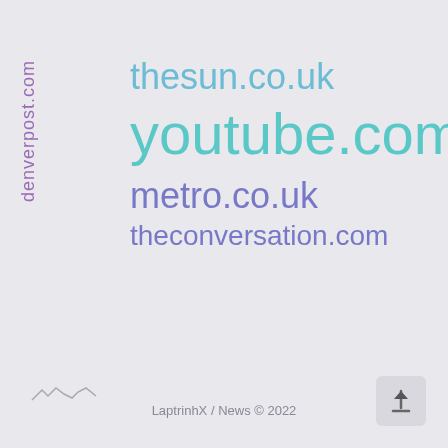denverpost.com
thesun.co.uk
youtube.com
metro.co.uk
theconversation.com
LaptrinhX / News © 2022